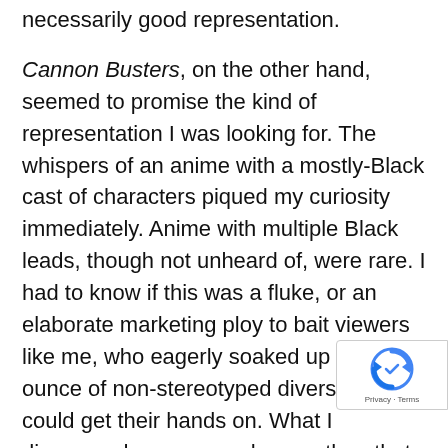necessarily good representation.

Cannon Busters, on the other hand, seemed to promise the kind of representation I was looking for. The whispers of an anime with a mostly-Black cast of characters piqued my curiosity immediately. Anime with multiple Black leads, though not unheard of, were rare. I had to know if this was a fluke, or an elaborate marketing ploy to bait viewers like me, who eagerly soaked up every ounce of non-stereotyped diversity they could get their hands on. What I discovered was so much more than that. The fun of Cannon Busters isn't just its inclusiveness, but in the way it doesn't take itself too seriously.

...their interest in the series has gone beyond Black...
[Figure (other): reCAPTCHA badge with spinning arrow logo and Privacy - Terms text]